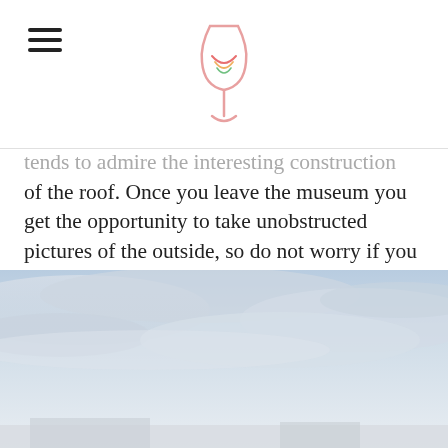tends to admire the interesting construction of the roof. Once you leave the museum you get the opportunity to take unobstructed pictures of the outside, so do not worry if you don't immediately have a good picture of the exterior. The building is supposed to look like a vessel, and when you leave you will pass a water installation which looks good in your pictures.
[Figure (photo): Outdoor sky photograph, light blue-grey cloudy sky, bottom of image shows what appears to be a building edge or ground area.]